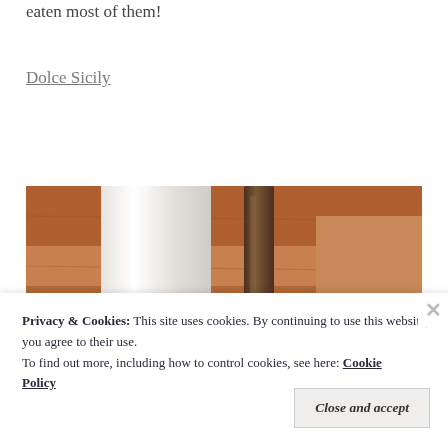eaten most of them!
Dolce Sicily
[Figure (photo): Close-up photo of what appears to be a white ceramic mug or cup and a dark glass bottle on a wooden surface, warm brown tones]
Privacy & Cookies: This site uses cookies. By continuing to use this website, you agree to their use.
To find out more, including how to control cookies, see here: Cookie Policy
Close and accept